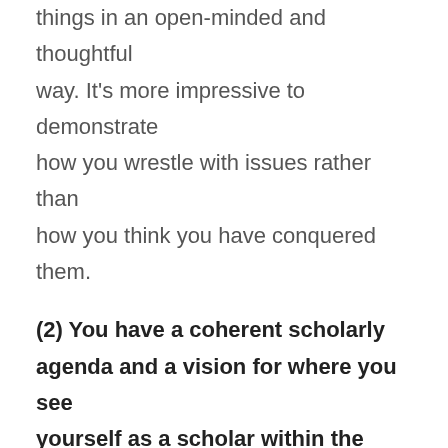things in an open-minded and thoughtful way. It's more impressive to demonstrate how you wrestle with issues rather than how you think you have conquered them.
(2) You have a coherent scholarly agenda and a vision for where you see yourself as a scholar within the next five years.
A scholarly agenda is essential.
Interviewers are taking a big gamble when